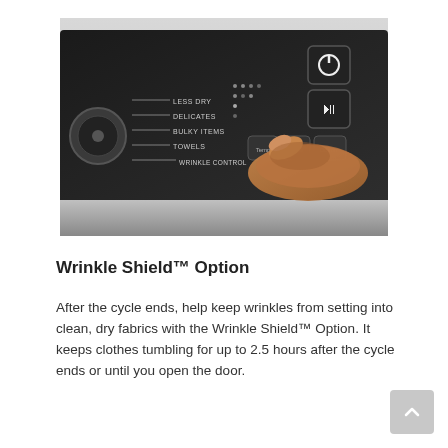[Figure (photo): A hand pressing a button on the dark control panel of a clothes dryer, showing cycle settings including Less Dry, Delicates, Bulky Items, Towels, Wrinkle Control, and buttons for Temp, Time, Options.]
Wrinkle Shield™ Option
After the cycle ends, help keep wrinkles from setting into clean, dry fabrics with the Wrinkle Shield™ Option. It keeps clothes tumbling for up to 2.5 hours after the cycle ends or until you open the door.